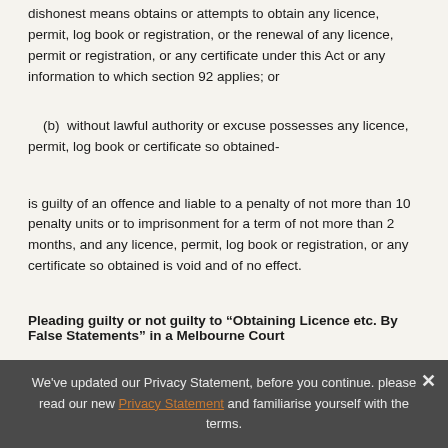dishonest means obtains or attempts to obtain any licence, permit, log book or registration, or the renewal of any licence, permit or registration, or any certificate under this Act or any information to which section 92 applies; or
(b)  without lawful authority or excuse possesses any licence, permit, log book or certificate so obtained-
is guilty of an offence and liable to a penalty of not more than 10 penalty units or to imprisonment for a term of not more than 2 months, and any licence, permit, log book or registration, or any certificate so obtained is void and of no effect.
Pleading guilty or not guilty to “Obtaining Licence etc. By False Statements” in a Melbourne Court
Deciding whether you should plead guilty or not guilty to a charge of “Obtaining Licence etc. By False Statements” is something that you should thoroughly discuss with a criminal defence solicitor. Legal issues...
We've updated our Privacy Statement, before you continue. please read our new Privacy Statement and familiarise yourself with the terms.